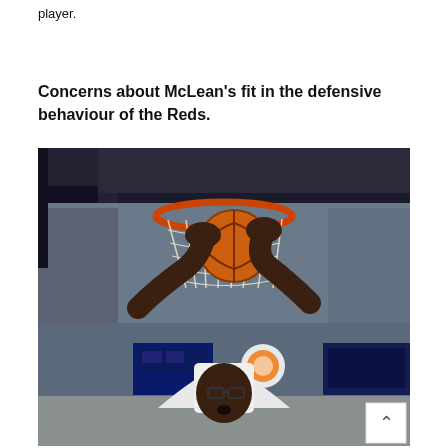player.
Concerns about McLean's fit in the defensive behaviour of the Reds.
[Figure (photo): A basketball player dunking a ball through an orange rim and white net in a crowded arena. The player, wearing glasses and a white uniform, reaches up while the basketball is partially through the net. A blue scoreboard and arena crowd are visible in the background.]